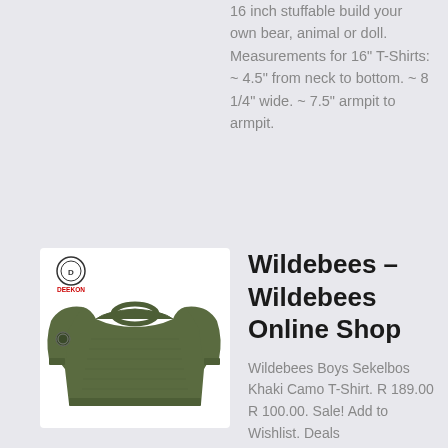16 inch stuffable build your own bear, animal or doll. Measurements for 16" T-Shirts: ~ 4.5" from neck to bottom. ~ 8 1/4" wide. ~ 7.5" armpit to armpit.
[Figure (photo): Green olive knit sweater / jumper with a small circular patch on the sleeve, displayed on white background. Deekom logo visible in top-left corner of product image.]
Wildebees – Wildebees Online Shop
Wildebees Boys Sekelbos Khaki Camo T-Shirt. R 189.00 R 100.00. Sale! Add to Wishlist. Deals